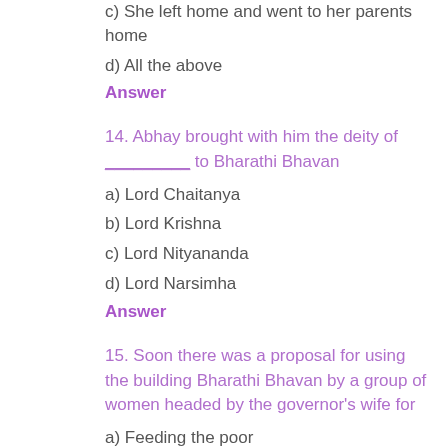c) She left home and went to her parents home
d) All the above
Answer
14. Abhay brought with him the deity of _________ to Bharathi Bhavan
a) Lord Chaitanya
b) Lord Krishna
c) Lord Nityananda
d) Lord Narsimha
Answer
15. Soon there was a proposal for using the building Bharathi Bhavan by a group of women headed by the governor's wife for
a) Feeding the poor
b) Making a temple for Lord Rama
c) Mahila Samity Sangha branch